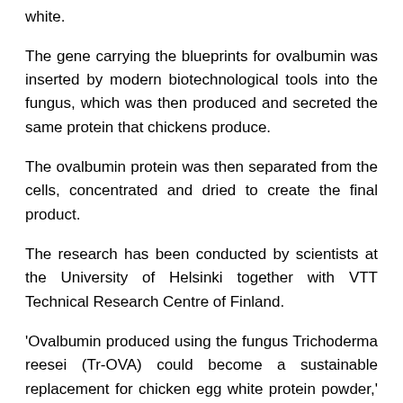white.
The gene carrying the blueprints for ovalbumin was inserted by modern biotechnological tools into the fungus, which was then produced and secreted the same protein that chickens produce.
The ovalbumin protein was then separated from the cells, concentrated and dried to create the final product.
The research has been conducted by scientists at the University of Helsinki together with VTT Technical Research Centre of Finland.
‘Ovalbumin produced using the fungus Trichoderma reesei (Tr-OVA) could become a sustainable replacement for chicken egg white protein powder,’ they say in their paper.